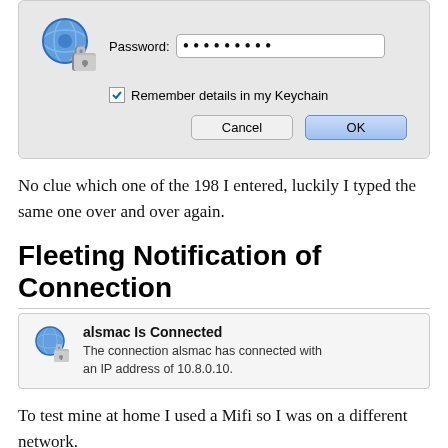[Figure (screenshot): macOS password dialog screenshot showing Password field with dots, Remember details in my Keychain checkbox, Cancel and OK buttons]
No clue which one of the 198 I entered, luckily I typed the same one over and over again.
Fleeting Notification of Connection
[Figure (screenshot): Notification banner: alsmac Is Connected. The connection alsmac has connected with an IP address of 10.8.0.10.]
To test mine at home I used a Mifi so I was on a different network.
Use the Menubar Icon to Disconnect